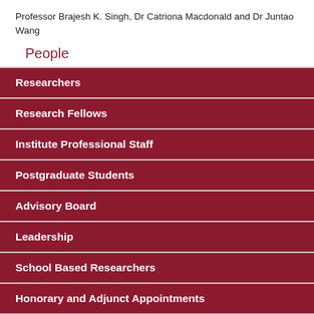Professor Brajesh K. Singh, Dr Catriona Macdonald and Dr Juntao Wang
People
Researchers
Research Fellows
Institute Professional Staff
Postgraduate Students
Advisory Board
Leadership
School Based Researchers
Honorary and Adjunct Appointments